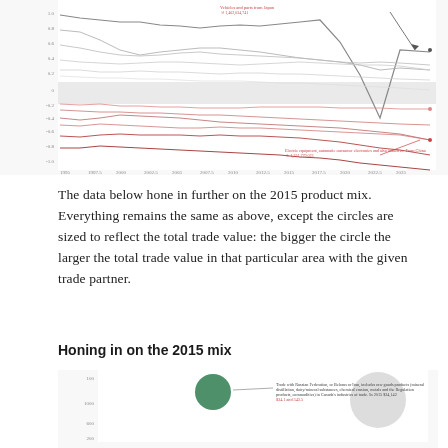[Figure (line-chart): Multi-line chart showing trade data over time from approximately 1995 to 2015. Multiple grey and red lines are shown, with annotations pointing to specific lines. A shaded grey band runs horizontally across the middle. One label references 'Vehicles and parts from Japan' and another references 'Electric equipment, automatic consumer electronics and also inductive. From China'.]
The data below hone in further on the 2015 product mix. Everything remains the same as above, except the circles are sized to reflect the total trade value: the bigger the circle the larger the total trade value in that particular area with the given trade partner.
Honing in on the 2015 mix
[Figure (bubble-chart): Partial bubble chart showing a large green circle and a large grey circle with a legend annotation. The chart appears to be a scatter/bubble plot about Canada's trade mix in 2015.]